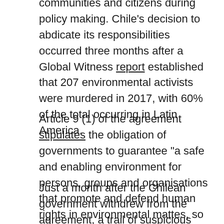communities and citizens during policy making. Chile's decision to abdicate its responsibilities occurred three months after a Global Witness report established that 207 environmental activists were murdered in 2017, with 60% of the total occurring in Latin America.
Article 9 (1) of the agreement stipulates the obligation of governments to guarantee "a safe and enabling environment for persons, groups and organisations that promote and defend human rights in environmental mattes, so that they are able to act free from threat, restriction and insecurity."
Just a month after the Chilean government withdrew from the agreement, a trail of suspicious deaths and blatant murders of environmental activists and trade